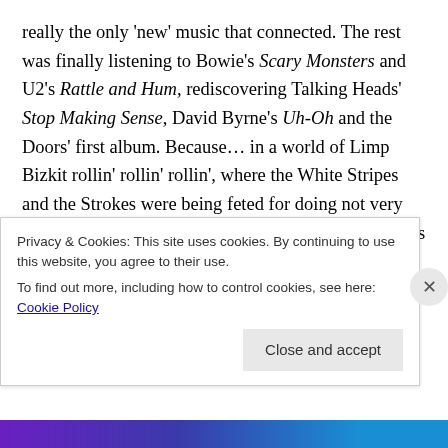really the only 'new' music that connected. The rest was finally listening to Bowie's Scary Monsters and U2's Rattle and Hum, rediscovering Talking Heads' Stop Making Sense, David Byrne's Uh-Oh and the Doors' first album. Because… in a world of Limp Bizkit rollin' rollin' rollin', where the White Stripes and the Strokes were being feted for doing not very much of anything at all, it has to be said that 2001 was a pretty bad year for music. As it was, as has been noted previously hereabouts, also a pretty bad year for film. 2001 – what the hell was that all about?
Some sort of psychic collapse or exhaustion from the
Privacy & Cookies: This site uses cookies. By continuing to use this website, you agree to their use. To find out more, including how to control cookies, see here: Cookie Policy